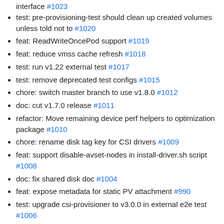interface #1023
test: pre-provisioning-test should clean up created volumes unless told not to #1020
feat: ReadWriteOncePod support #1019
feat: reduce vmss cache refresh #1018
test: run v1.22 external test #1017
test: remove deprecated test configs #1015
chore: switch master branch to use v1.8.0 #1012
doc: cut v1.7.0 release #1011
refactor: Move remaining device perf helpers to optimization package #1010
chore: rename disk tag key for CSI drivers #1009
feat: support disable-avset-nodes in install-driver.sh script #1008
doc: fix shared disk doc #1004
feat: expose metadata for static PV attachment #990
test: upgrade csi-provisioner to v3.0.0 in external e2e test #1006
fix: enable avset setting by default #1005